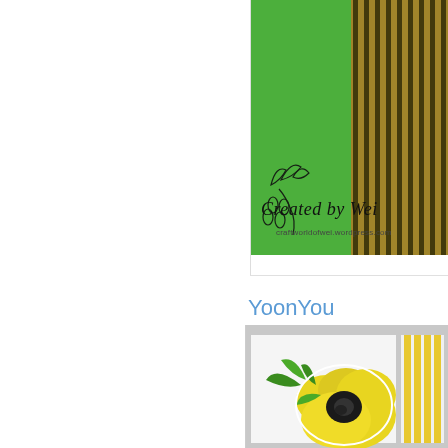[Figure (photo): Craft card with green background and vertical black and gold stripes, with a decorative botanical watermark overlay reading 'Created by Wei' and 'craftworldofwei.wordpress.com']
YoonYou
[Figure (photo): Craft card featuring a large yellow flower with green leaves on a light gray background with yellow vertical stripes on the right side]